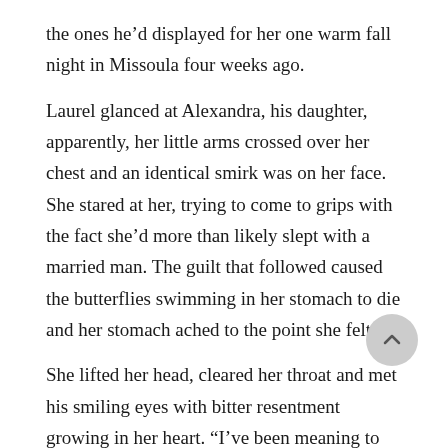the ones he’d displayed for her one warm fall night in Missoula four weeks ago.
Laurel glanced at Alexandra, his daughter, apparently, her little arms crossed over her chest and an identical smirk was on her face. She stared at her, trying to come to grips with the fact she’d more than likely slept with a married man. The guilt that followed caused the butterflies swimming in her stomach to die and her stomach ached to the point she felt ill.
She lifted her head, cleared her throat and met his smiling eyes with bitter resentment growing in her heart. “I’ve been meaning to meet all the parents of my students and you were first on my list.”
“I’m flattered.” The look in his eyes changed and Laurel knew he was remembering that night too. Damn his hide. Why did he have to live here?
His voice was just as deep as she remembered and the sound of it